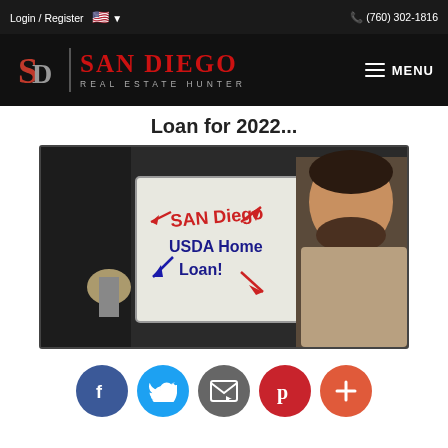Login / Register   🇺🇸 ▾   ☎ (760) 302-1816
[Figure (logo): San Diego Real Estate Hunter logo with SD monogram and red text]
Loan for 2022...
[Figure (photo): Man holding a whiteboard that reads 'San Diego USDA Home Loan!' with arrows drawn on it]
[Figure (infographic): Social sharing buttons: Facebook (blue), Twitter (light blue), Email (gray), Pinterest (red), Plus/More (orange-red)]